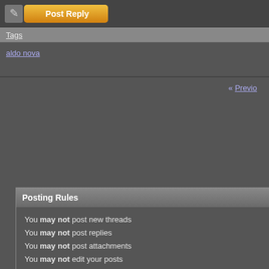[Figure (screenshot): Post Reply button with pencil/paper icon on a dark background]
Tags
aldo nova
« Previous
Posting Rules
You may not post new threads
You may not post replies
You may not post attachments
You may not edit your posts
BB code is On
Smilies are On
[IMG] code is On
HTML code is Off
Forum Rules
[Figure (screenshot): infolinks advertisement bar]
[Figure (photo): Macy's advertisement: KISS BORING LIPS GOODBYE with a woman's face and SHOP NOW button]